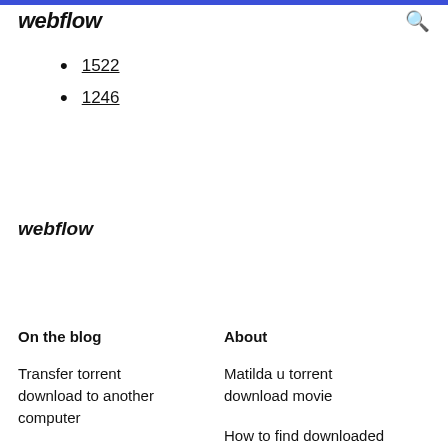webflow
1522
1246
webflow
On the blog
About
Transfer torrent download to another computer
Matilda u torrent download movie
How to find downloaded